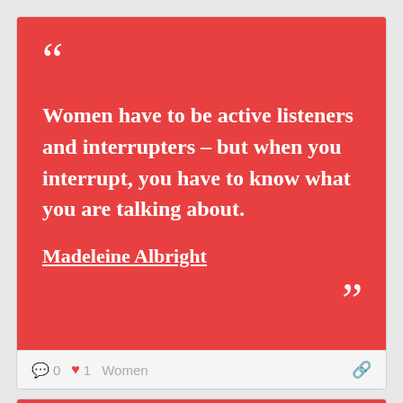[Figure (infographic): Quote card with red background. Opening double quotation mark at top left. Bold white text quote: 'Women have to be active listeners and interrupters – but when you interrupt, you have to know what you are talking about.' Underlined bold white author name: 'Madeleine Albright'. Closing double quotation mark at bottom right.]
0  1  Women
[Figure (infographic): Partial second quote card with red background, showing only top portion with opening quotation marks visible.]